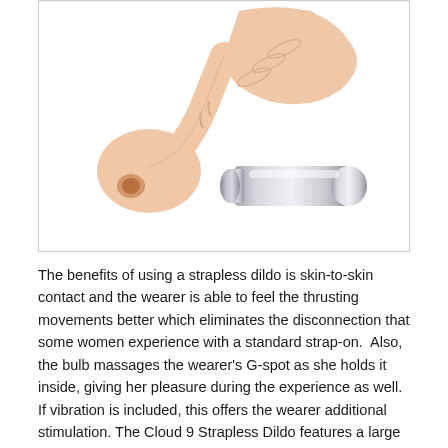[Figure (photo): Product photo showing a skin-toned strapless dildo alongside a silver metallic bullet vibrator, on a white background, within a light gray bordered box.]
The benefits of using a strapless dildo is skin-to-skin contact and the wearer is able to feel the thrusting movements better which eliminates the disconnection that some women experience with a standard strap-on.  Also, the bulb massages the wearer's G-spot as she holds it inside, giving her pleasure during the experience as well. If vibration is included, this offers the wearer additional stimulation. The Cloud 9 Strapless Dildo features a large vibrating bullet (above) that fits inside the dildo to ensure maximum pleasure.